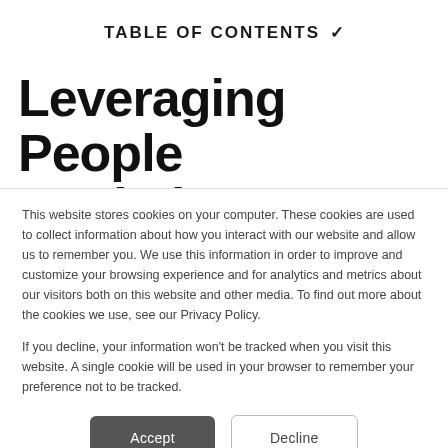TABLE OF CONTENTS ✓
Leveraging People Analytics to Optimize
This website stores cookies on your computer. These cookies are used to collect information about how you interact with our website and allow us to remember you. We use this information in order to improve and customize your browsing experience and for analytics and metrics about our visitors both on this website and other media. To find out more about the cookies we use, see our Privacy Policy.
If you decline, your information won't be tracked when you visit this website. A single cookie will be used in your browser to remember your preference not to be tracked.